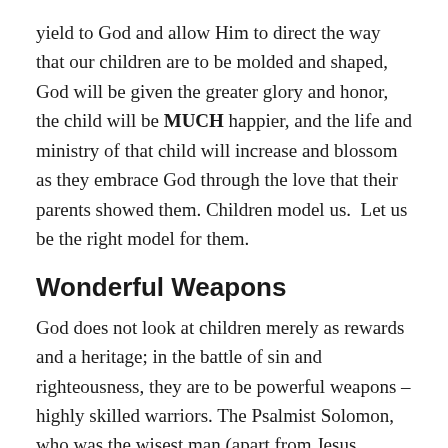yield to God and allow Him to direct the way that our children are to be molded and shaped, God will be given the greater glory and honor, the child will be MUCH happier, and the life and ministry of that child will increase and blossom as they embrace God through the love that their parents showed them. Children model us.  Let us be the right model for them.
Wonderful Weapons
God does not look at children merely as rewards and a heritage; in the battle of sin and righteousness, they are to be powerful weapons – highly skilled warriors. The Psalmist Solomon, who was the wisest man (apart from Jesus Christ) to ever walk the Earth, uses the imagery of archery to convey this point.  An archer is